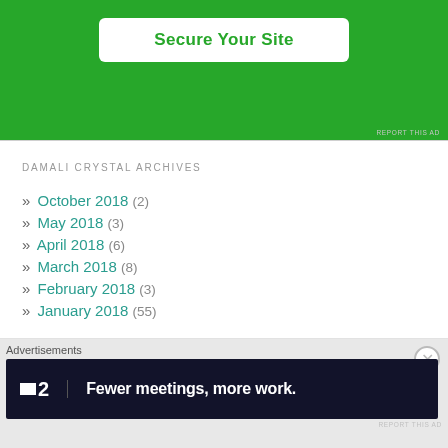[Figure (screenshot): Green advertisement banner with white 'Secure Your Site' button]
DAMALI CRYSTAL ARCHIVES
» October 2018 (2)
» May 2018 (3)
» April 2018 (6)
» March 2018 (8)
» February 2018 (3)
» January 2018 (55)
Advertisements
[Figure (screenshot): Dark advertisement banner: Planhat logo '2' with text 'Fewer meetings, more work.']